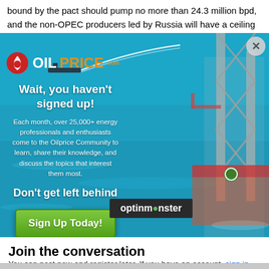bound by the pact should pump no more than 24.3 million bpd, and the non-OPEC producers led by Russia will have a ceiling of 15.794 million bpd.
[Figure (screenshot): OilPrice.com popup modal advertisement over ocean/oil rig background. Contains OilPrice logo, headline 'Wait, you haven't signed up!', body text about 25,000+ energy professionals, subheading 'Don't get left behind', and green 'Sign Up Today!' button. An optinmonster bar overlay is partially visible. Close button (X) in top right corner.]
Join the conversation
You can post now and register later. If you have an account, sign in now to post with your account.